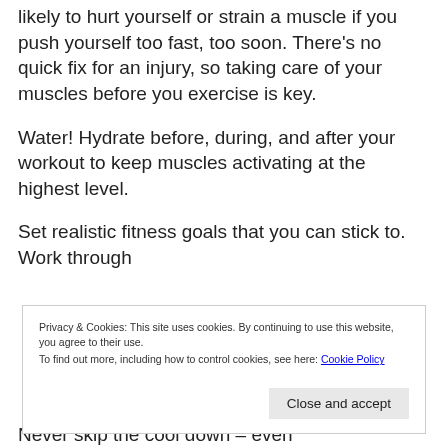likely to hurt yourself or strain a muscle if you push yourself too fast, too soon. There's no quick fix for an injury, so taking care of your muscles before you exercise is key.
Water! Hydrate before, during, and after your workout to keep muscles activating at the highest level.
Set realistic fitness goals that you can stick to. Work through
Privacy & Cookies: This site uses cookies. By continuing to use this website, you agree to their use.
To find out more, including how to control cookies, see here: Cookie Policy
Never skip the cool down – even